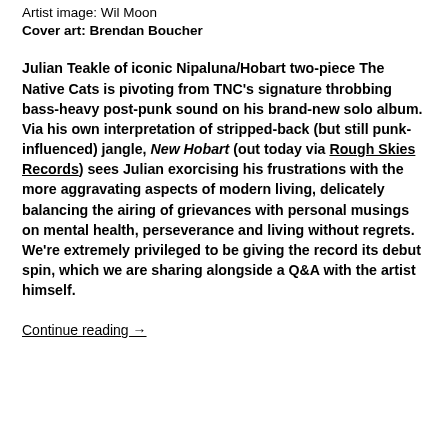Artist image: Wil Moon
Cover art: Brendan Boucher
Julian Teakle of iconic Nipaluna/Hobart two-piece The Native Cats is pivoting from TNC's signature throbbing bass-heavy post-punk sound on his brand-new solo album. Via his own interpretation of stripped-back (but still punk-influenced) jangle, New Hobart (out today via Rough Skies Records) sees Julian exorcising his frustrations with the more aggravating aspects of modern living, delicately balancing the airing of grievances with personal musings on mental health, perseverance and living without regrets. We're extremely privileged to be giving the record its debut spin, which we are sharing alongside a Q&A with the artist himself.
Continue reading →